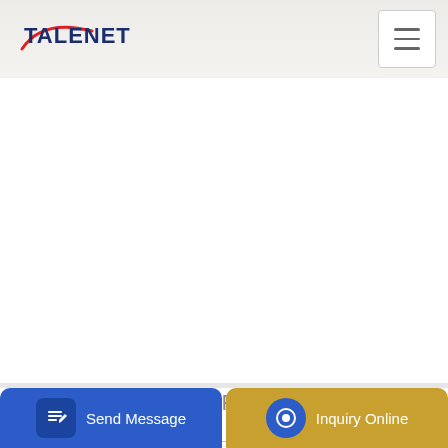TALENET
[Figure (screenshot): White content/image area below navigation header]
Related Products
Pengecoran Lebih Cepat Dengan Concrete Pump Pompa
New and Used RAM 5500 Concrete Pump Truck For Sale
...ent sta...
Send Message
Inquiry Online